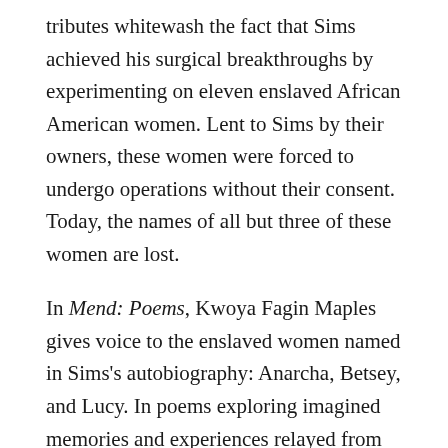tributes whitewash the fact that Sims achieved his surgical breakthroughs by experimenting on eleven enslaved African American women. Lent to Sims by their owners, these women were forced to undergo operations without their consent. Today, the names of all but three of these women are lost.
In Mend: Poems, Kwoya Fagin Maples gives voice to the enslaved women named in Sims's autobiography: Anarcha, Betsey, and Lucy. In poems exploring imagined memories and experiences relayed from hospital beds, the speakers challenge Sims's lies, mourn their trampled dignity, name their suffering in spirit, and speak of their bodies as "bruised fruit." At the same time, they are more than his victims, and the poems celebrate their humanity, their feelings, their memories, and their